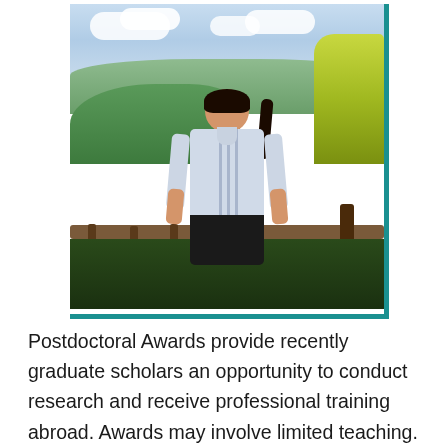[Figure (photo): A smiling woman with dark hair wearing a blue and white striped shirt standing in front of a wooden railing with a scenic green hilly landscape and partly cloudy sky behind her.]
Postdoctoral Awards provide recently graduate scholars an opportunity to conduct research and receive professional training abroad. Awards may involve limited teaching. Postdocs are open